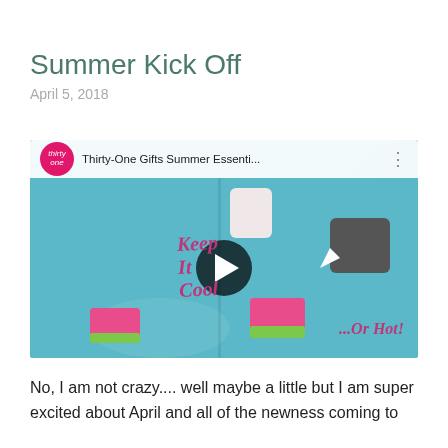Summer Kick Off
April 5, 2018
[Figure (screenshot): YouTube video thumbnail for 'Thirty-One Gifts Summer Essenti...' showing a smiling girl with summer-themed novelty pouches (unicorn, shark, watermelon designs) on a teal background with overlaid cursive text 'Keep It Cool' and '...Or Hot!' A video play button (dark circle with white triangle) is centered over the thumbnail. A white top bar shows the Thirty-One brand logo circle and video title.]
No, I am not crazy.... well maybe a little but I am super excited about April and all of the newness coming to